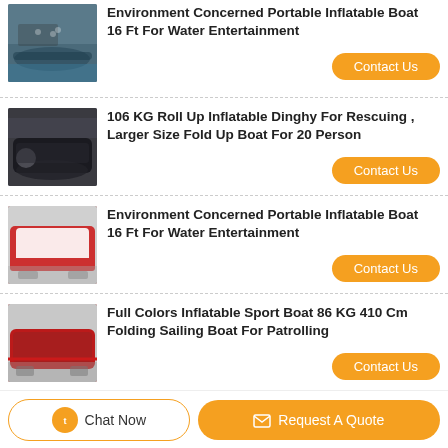[Figure (photo): Inflatable sport boat with people on water]
106 KG Roll Up Inflatable Dinghy For Rescuing , Larger Size Fold Up Boat For 20 Person
[Figure (photo): Dark inflatable dinghy boat]
Environment Concerned Portable Inflatable Boat 16 Ft For Water Entertainment
[Figure (photo): Red and white inflatable boat indoors]
Full Colors Inflatable Sport Boat 86 KG 410 Cm Folding Sailing Boat For Patrolling
[Figure (photo): Red inflatable sport boat indoors]
Wider Bow Inflatable Fishing Pontoon Boats , Small Pontoon Boats 380 Cm OEM Accepted
[Figure (photo): White pontoon fishing boat outdoors]